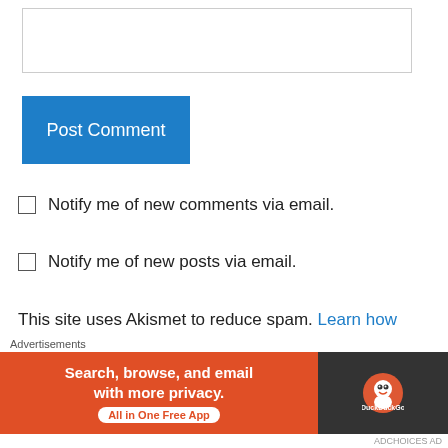[Figure (screenshot): Text input box / comment field, empty]
Post Comment
Notify me of new comments via email.
Notify me of new posts via email.
This site uses Akismet to reduce spam. Learn how your comment data is processed.
carol on 11 October 2020 at 17:34
Advertisements
[Figure (screenshot): DuckDuckGo advertisement banner: Search, browse, and email with more privacy. All in One Free App.]